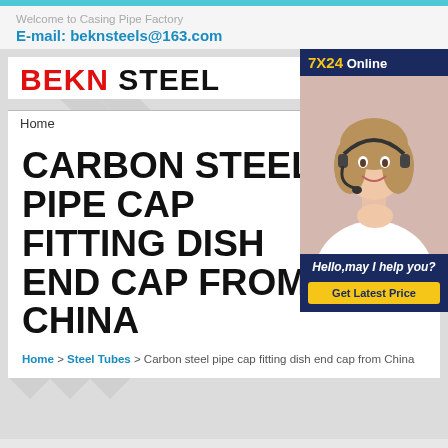Welcome to Casing Pipe Factory
E-mail: beknsteels@163.com
[Figure (logo): BEKN STEEL company logo with BEKN in red and STEEL in black bold text]
Home
[Figure (photo): Customer service representative woman wearing headset smiling, with 7X24 Online chat widget overlay]
CARBON STEEL PIPE CAP FITTING DISH END CAP FROM CHINA
Home > Steel Tubes > Carbon steel pipe cap fitting dish end cap from China